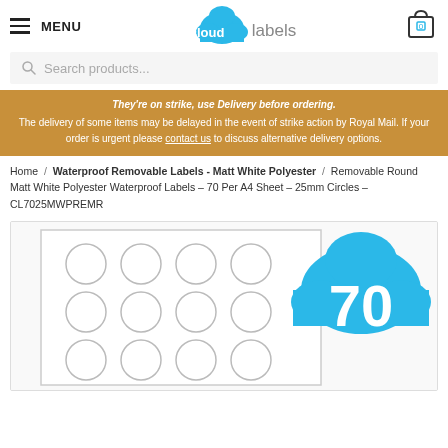MENU | cloudlabels | [cart: 0]
Search products...
They're on strike, use Delivery before ordering. The delivery of some items may be delayed in the event of strike action by Royal Mail. If your order is urgent please contact us to discuss alternative delivery options.
Home / Waterproof Removable Labels - Matt White Polyester / Removable Round Matt White Polyester Waterproof Labels – 70 Per A4 Sheet – 25mm Circles – CL7025MWPREMR
[Figure (photo): A4 label sheet showing 70 round circle labels arranged in rows, with a blue cloud badge showing the number 70]